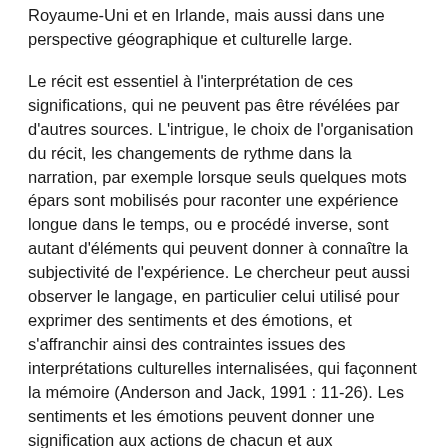Royaume-Uni et en Irlande, mais aussi dans une perspective géographique et culturelle large.
Le récit est essentiel à l'interprétation de ces significations, qui ne peuvent pas être révélées par d'autres sources. L'intrigue, le choix de l'organisation du récit, les changements de rythme dans la narration, par exemple lorsque seuls quelques mots épars sont mobilisés pour raconter une expérience longue dans le temps, ou e procédé inverse, sont autant d'éléments qui peuvent donner à connaître la subjectivité de l'expérience. Le chercheur peut aussi observer le langage, en particulier celui utilisé pour exprimer des sentiments et des émotions, et s'affranchir ainsi des contraintes issues des interprétations culturelles internalisées, qui façonnent la mémoire (Anderson and Jack, 1991 : 11-26). Les sentiments et les émotions peuvent donner une signification aux actions de chacun et aux événements. C'est le cas par exemple lorsque certaines émotions sont passées sous silence, le narrateur estimant qu'elles ne cadrent pas avec le récit collectif dominant qui est